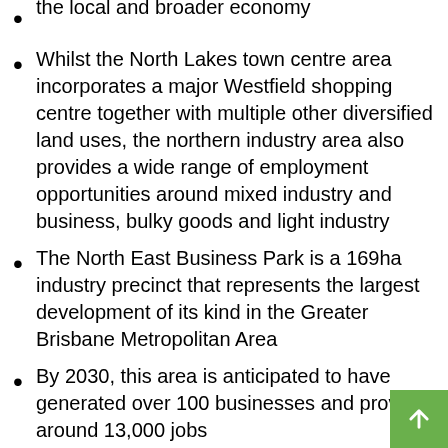the local and broader economy
Whilst the North Lakes town centre area incorporates a major Westfield shopping centre together with multiple other diversified land uses, the northern industry area also provides a wide range of employment opportunities around mixed industry and business, bulky goods and light industry
The North East Business Park is a 169ha industry precinct that represents the largest development of its kind in the Greater Brisbane Metropolitan Area
By 2030, this area is anticipated to have generated over 100 businesses and provide around 13,000 jobs
The old Petrie Mill site has been nominated as a Priority Development Area by the State Government, with the core of this strategic site to be called the University of the Sunshine Coast